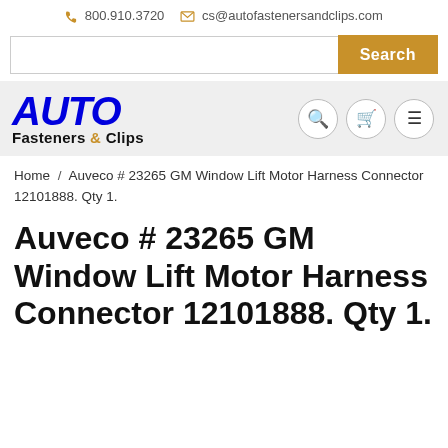800.910.3720  cs@autofastenersandclips.com
[Figure (screenshot): Search bar with golden Search button]
[Figure (logo): Auto Fasteners & Clips logo with blue italic AUTO text and navigation icons (search, cart, menu)]
Home / Auveco # 23265 GM Window Lift Motor Harness Connector 12101888. Qty 1.
Auveco # 23265 GM Window Lift Motor Harness Connector 12101888. Qty 1.